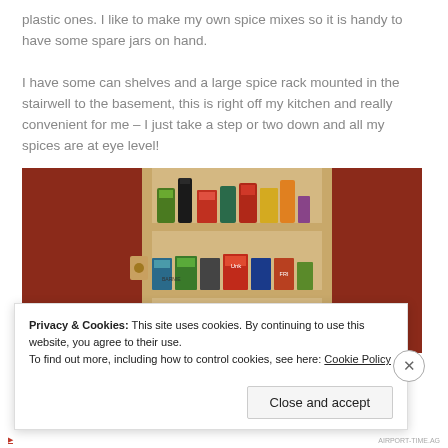plastic ones. I like to make my own spice mixes so it is handy to have some spare jars on hand.

I have some can shelves and a large spice rack mounted in the stairwell to the basement, this is right off my kitchen and really convenient for me – I just take a step or two down and all my spices are at eye level!
[Figure (photo): Photo of a wooden spice rack mounted between two red cabinet doors, holding various cans and jars of spices and food items on two visible shelves.]
Privacy & Cookies: This site uses cookies. By continuing to use this website, you agree to their use.
To find out more, including how to control cookies, see here: Cookie Policy

Close and accept